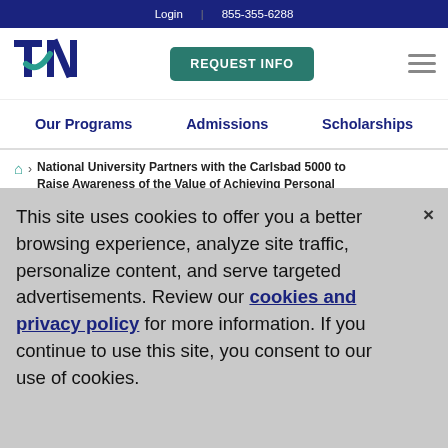Login | 855-355-6288
[Figure (logo): National University logo — stylized TN letters in navy blue and teal]
REQUEST INFO
Our Programs | Admissions | Scholarships
National University Partners with the Carlsbad 5000 to Raise Awareness of the Value of Achieving Personal
This site uses cookies to offer you a better browsing experience, analyze site traffic, personalize content, and serve targeted advertisements. Review our cookies and privacy policy for more information. If you continue to use this site, you consent to our use of cookies.